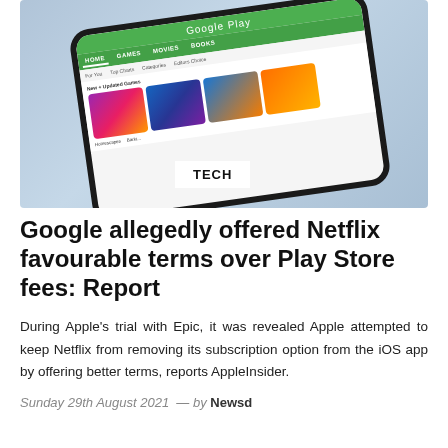[Figure (photo): A smartphone displaying the Google Play Store home screen with game thumbnails visible, photographed at an angle against a light blue background. A 'TECH' category badge is overlaid at the bottom center of the image.]
Google allegedly offered Netflix favourable terms over Play Store fees: Report
During Apple's trial with Epic, it was revealed Apple attempted to keep Netflix from removing its subscription option from the iOS app by offering better terms, reports AppleInsider.
Sunday 29th August 2021  —  by Newsd